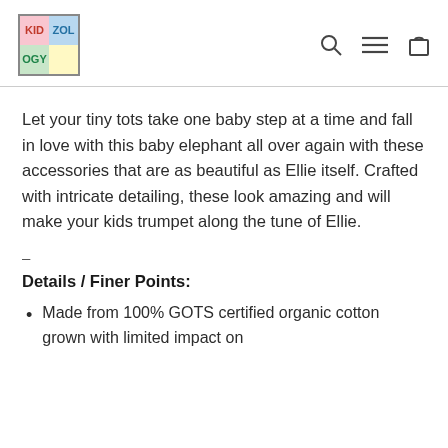KIDZOLOGY
Let your tiny tots take one baby step at a time and fall in love with this baby elephant all over again with these accessories that are as beautiful as Ellie itself. Crafted with intricate detailing, these look amazing and will make your kids trumpet along the tune of Ellie.
–
Details / Finer Points:
Made from 100% GOTS certified organic cotton grown with limited impact on